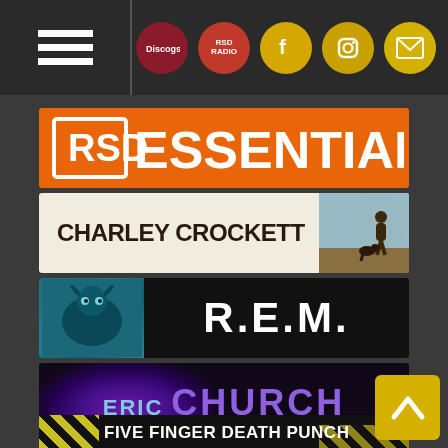Navigation bar with hamburger menu and social icons (Discogs, RSD, Facebook, Instagram, Email)
[Figure (logo): RSD ESSENTIALS orange banner logo]
[Figure (logo): CHARLEY CROCKETT text banner with album art showing figure in landscape]
[Figure (logo): R.E.M. band logo banner with creature image on black background]
[Figure (logo): ERIC CHURCH text banner with purple smoke effect on dark background]
[Figure (logo): FIVE FINGER DEATH PUNCH banner with yellow diagonal stripes and QR code]
[Figure (logo): Red banner at bottom (partially visible)]